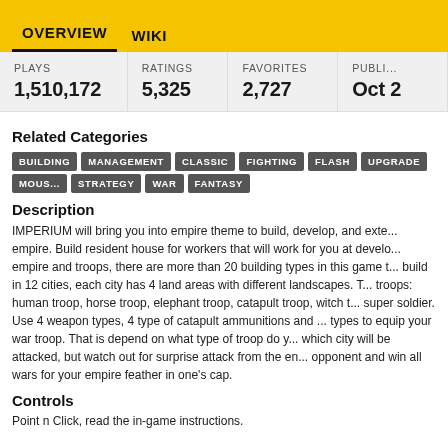OVERVIEW   WIKI
| PLAYS | RATINGS | FAVORITES | PUBLI... |
| --- | --- | --- | --- |
| 1,510,172 | 5,325 | 2,727 | Oct 2... |
Related Categories
BUILDING
MANAGEMENT
CLASSIC
FIGHTING
FLASH
UPGRADE
MOUS...
STRATEGY
WAR
FANTASY
Description
IMPERIUM will bring you into empire theme to build, develop, and exte... empire. Build resident house for workers that will work for you at develo... empire and troops, there are more than 20 building types in this game t... build in 12 cities, each city has 4 land areas with different landscapes. T... troops: human troop, horse troop, elephant troop, catapult troop, witch t... super soldier. Use 4 weapon types, 4 type of catapult ammunitions and ... types to equip your war troop. That is depend on what type of troop do y... which city will be attacked, but watch out for surprise attack from the en... opponent and win all wars for your empire feather in one's cap.
Controls
Point n Click, read the in-game instructions.